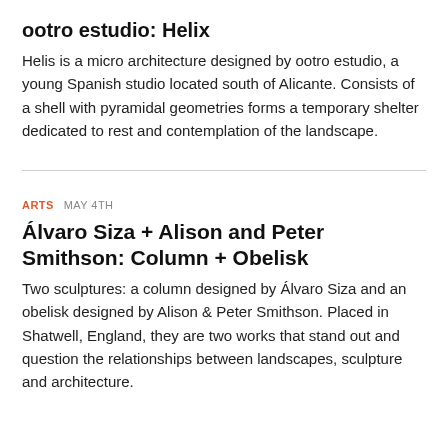ootro estudio: Helix
Helis is a micro architecture designed by ootro estudio, a young Spanish studio located south of Alicante. Consists of a shell with pyramidal geometries forms a temporary shelter dedicated to rest and contemplation of the landscape.
ARTS  MAY 4TH
Álvaro Siza + Alison and Peter Smithson: Column + Obelisk
Two sculptures: a column designed by Álvaro Siza and an obelisk designed by Alison & Peter Smithson. Placed in Shatwell, England, they are two works that stand out and question the relationships between landscapes, sculpture and architecture.